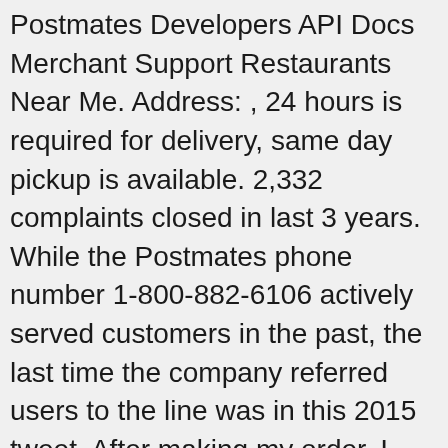Postmates Developers API Docs Merchant Support Restaurants Near Me. Address: , 24 hours is required for delivery, same day pickup is available. 2,332 complaints closed in last 3 years. While the Postmates phone number 1-800-882-6106 actively served customers in the past, the last time the company referred users to the line was in this 2015 tweet. After making my order, I saw that the discount they gave me was for $6. As a matter of policy, BBB does not endorse any product, service or business. Contact Uber customer service. Postmates is changing delivery for good. However, BBB does not verify the accuracy of information provided by third parties, and does not guarantee the accuracy of any information in Business Profiles. This company offers Same day urban logistics & delivery platform. You can also email us through the Help Center and find answers to commonly asked questions. Company profile page for Postmates Inc including stock price, company news, press releases